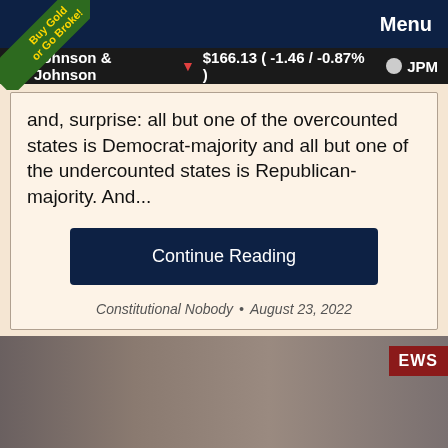Menu
Johnson & Johnson ▼ $166.13 ( -1.46 / -0.87% ) ○ JPM
and, surprise: all but one of the overcounted states is Democrat-majority and all but one of the undercounted states is Republican-majority.  And...
Continue Reading
Constitutional Nobody  •  August 23, 2022
Please Help...
We don't like to ask for donations, but we're being silenced at every turn...
Thank you!